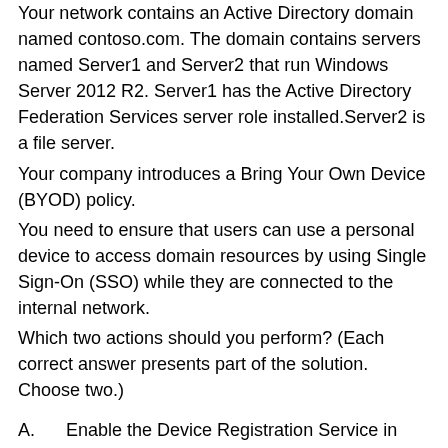Your network contains an Active Directory domain named contoso.com. The domain contains servers named Server1 and Server2 that run Windows Server 2012 R2. Server1 has the Active Directory Federation Services server role installed.Server2 is a file server.
Your company introduces a Bring Your Own Device (BYOD) policy.
You need to ensure that users can use a personal device to access domain resources by using Single Sign-On (SSO) while they are connected to the internal network.
Which two actions should you perform? (Each correct answer presents part of the solution. Choose two.)
A.    Enable the Device Registration Service in Active Directory.
B.    Publish the Device Registration Service by using a Web Application Proxy.
C.    Configure Active Directory Federation Services (AD FS) for the Device Registration Service.